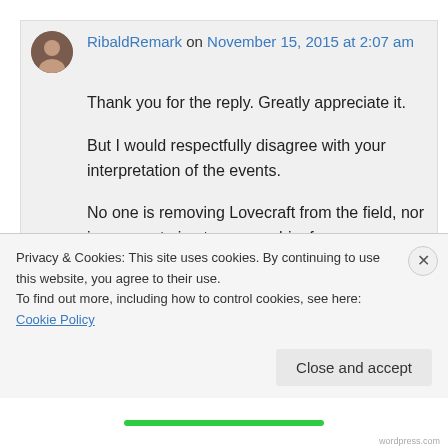RibaldRemark on November 15, 2015 at 2:07 am
Thank you for the reply. Greatly appreciate it.
But I would respectfully disagree with your interpretation of the events.
No one is removing Lovecraft from the field, nor is anyone trying to remove him from
Privacy & Cookies: This site uses cookies. By continuing to use this website, you agree to their use. To find out more, including how to control cookies, see here: Cookie Policy
Close and accept